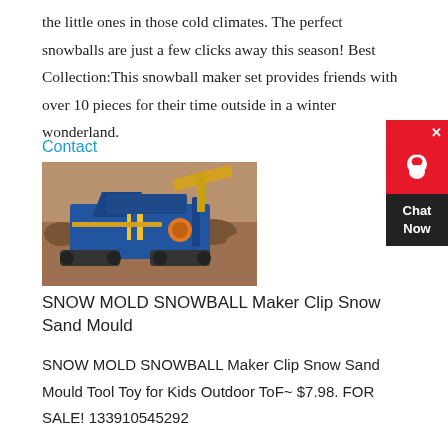the little ones in those cold climates. The perfect snowballs are just a few clicks away this season! Best Collection:This snowball maker set provides friends with over 10 pieces for their time outside in a winter wonderland.
Contact
[Figure (photo): A blue industrial crushing/mining machine (mobile crusher) surrounded by rocky terrain and earth.]
SNOW MOLD SNOWBALL Maker Clip Snow Sand Mould
SNOW MOLD SNOWBALL Maker Clip Snow Sand Mould Tool Toy for Kids Outdoor ToF~ $7.98. FOR SALE! 133910545292